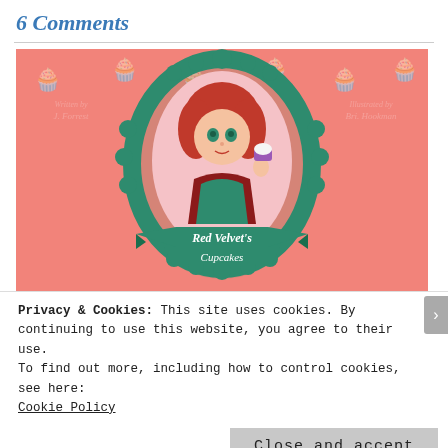6 Comments
[Figure (illustration): Book cover illustration for 'Red Velvet's Cupcakes' – a cartoon girl with red hair holding a cupcake, framed by a teal decorative border, on a pink background with cupcake pattern. Text: 'Written by J. Forrest', 'Illustrated by Bri. Hookman', 'Red Velvet's Cupcakes']
Privacy & Cookies: This site uses cookies. By continuing to use this website, you agree to their use.
To find out more, including how to control cookies, see here: Cookie Policy
Close and accept